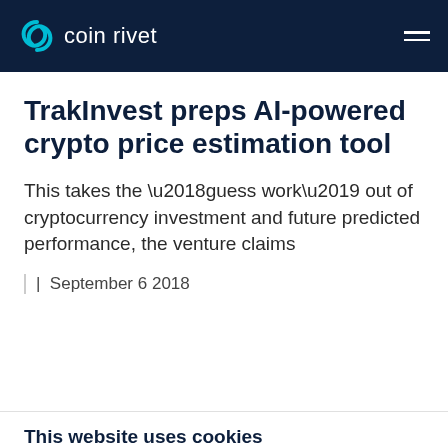coin rivet
TrakInvest preps AI-powered crypto price estimation tool
This takes the ‘guess work’ out of cryptocurrency investment and future predicted performance, the venture claims
| September 6 2018
This website uses cookies